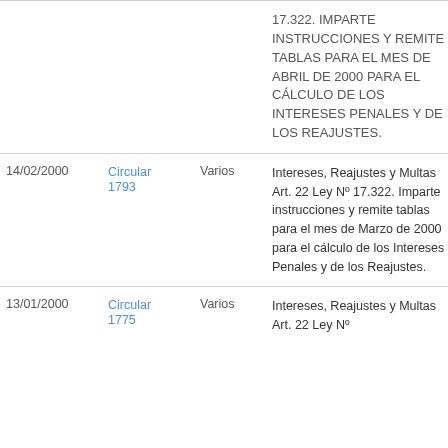| Fecha | Tipo | Destinatario | Descripción |  |
| --- | --- | --- | --- | --- |
|  |  |  | 17.322. IMPARTE INSTRUCCIONES Y REMITE TABLAS PARA EL MES DE ABRIL DE 2000 PARA EL CÁLCULO DE LOS INTERESES PENALES Y DE LOS REAJUSTES. |  |
| 14/02/2000 | Circular 1793 | Varios | Intereses, Reajustes y Multas Art. 22 Ley Nº 17.322. Imparte instrucciones y remite tablas para el mes de Marzo de 2000 para el cálculo de los Intereses Penales y de los Reajustes. |  |
| 13/01/2000 | Circular 1775 | Varios | Intereses, Reajustes y Multas Art. 22 Ley Nº... |  |